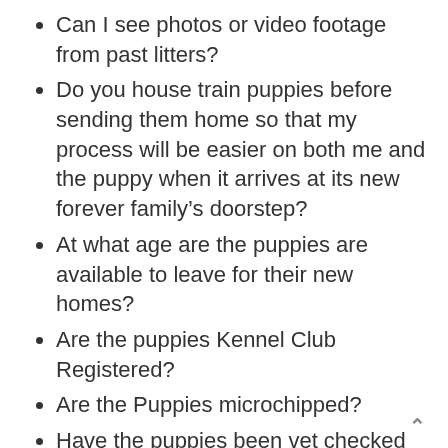Can I see photos or video footage from past litters?
Do you house train puppies before sending them home so that my process will be easier on both me and the puppy when it arrives at its new forever family's doorstep?
At what age are the puppies are available to leave for their new homes?
Are the puppies Kennel Club Registered?
Are the Puppies microchipped?
Have the puppies been vet checked and vaccinated?
May I see the parents of this litter?
Have the pup's parents been DNA profiled and most importantly health